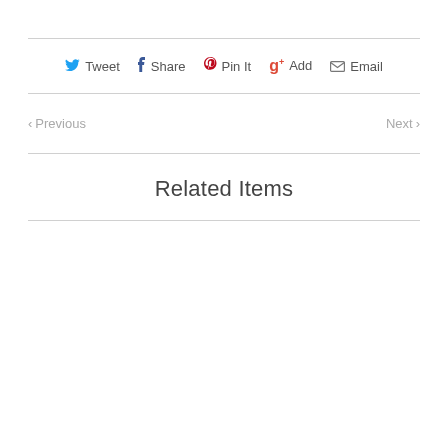Tweet  Share  Pin It  Add  Email
‹ Previous    Next ›
Related Items